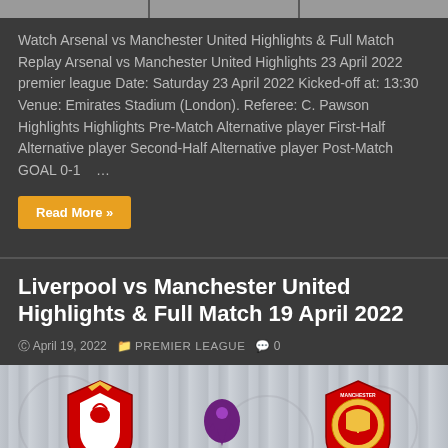[Figure (photo): Top image strip showing partial match or highlights thumbnail, divided into three segments]
Watch Arsenal vs Manchester United Highlights & Full Match Replay Arsenal vs Manchester United Highlights 23 April 2022 premier league Date: Saturday 23 April 2022 Kicked-off at: 13:30 Venue: Emirates Stadium (London). Referee: C. Pawson Highlights Highlights Pre-Match Alternative player First-Half Alternative player Second-Half Alternative player Post-Match GOAL 0-1   …
Read More »
Liverpool vs Manchester United Highlights & Full Match 19 April 2022
April 19, 2022   PREMIER LEAGUE   0
[Figure (photo): Match thumbnail showing Liverpool FC logo on the left, Premier League logo in the center, and Manchester United logo on the right, against a wood-texture background]